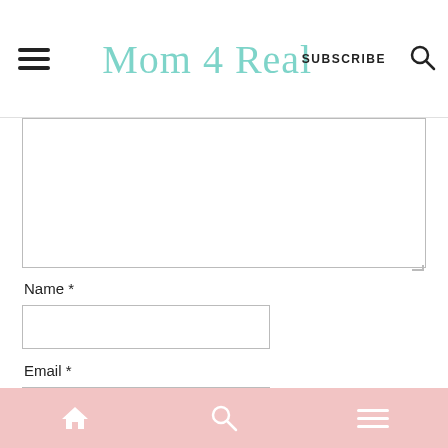Mom 4 Real — SUBSCRIBE
[Figure (screenshot): Comment form with textarea, Name field, and Email field]
Home, Search, Menu navigation bar